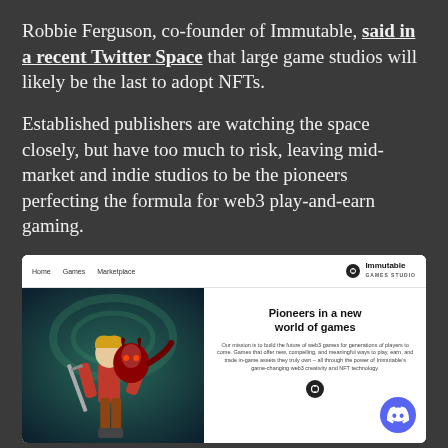Robbie Ferguson, co-founder of Immutable, said in a recent Twitter Space that large game studios will likely be the last to adopt NFTs.
Established publishers are watching the space closely, but have too much to risk, leaving mid-market and indie studios to be the pioneers perfecting the formula for web3 play-and-earn gaming.
[Figure (screenshot): Screenshot of Immutable Games Studio website showing navigation bar with Home, Games, Marketplace links and Immutable logo, a fantasy game character illustration on the left, and 'Pioneers in a new world of games' heading with mission text on the right. A Discord button appears in the bottom right corner.]